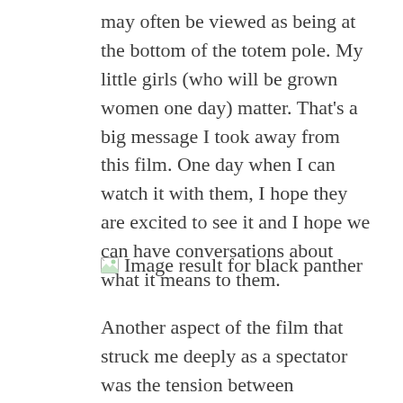may often be viewed as being at the bottom of the totem pole. My little girls (who will be grown women one day) matter. That's a big message I took away from this film. One day when I can watch it with them, I hope they are excited to see it and I hope we can have conversations about what it means to them.
[Figure (other): Broken image placeholder with alt text 'Image result for black panther']
Another aspect of the film that struck me deeply as a spectator was the tension between Killmonger as the